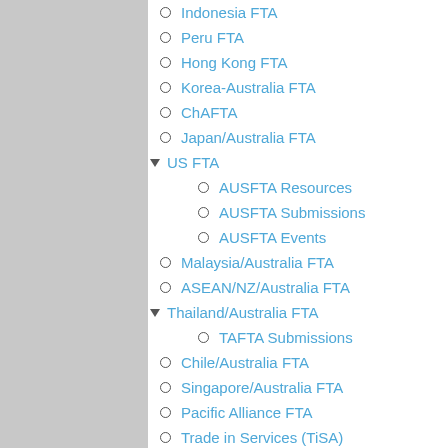Indonesia FTA
Peru FTA
Hong Kong FTA
Korea-Australia FTA
ChAFTA
Japan/Australia FTA
US FTA
AUSFTA Resources
AUSFTA Submissions
AUSFTA Events
Malaysia/Australia FTA
ASEAN/NZ/Australia FTA
Thailand/Australia FTA
TAFTA Submissions
Chile/Australia FTA
Singapore/Australia FTA
Pacific Alliance FTA
Trade in Services (TiSA)
APEC
APPEC - Putting People into APEC
APPEC Speeches
World Trade Organisation
Agriculture